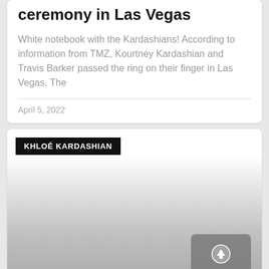ceremony in Las Vegas
White notebook with the Kardashians! According to information from TMZ, Kourtney Kardashian and Travis Barker passed the ring on their finger in Las Vegas. The
April 5, 2022
KHLOÉ KARDASHIAN
[Figure (photo): A gradient gray image area with a gray rounded upload button in the bottom right containing an upward arrow icon]